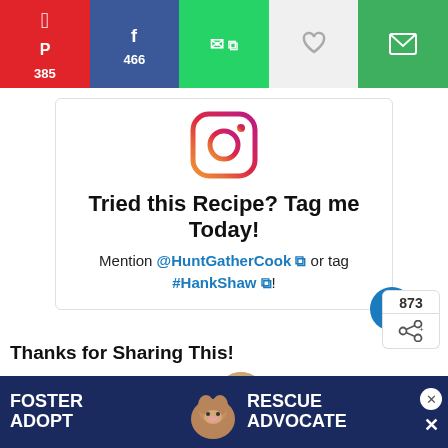[Figure (screenshot): Social share bar with Pinterest (385), Facebook (466), WhatsApp, heart/save, and email buttons]
[Figure (infographic): Instagram call-to-action box with Instagram logo, 'Tried this Recipe? Tag me Today!' heading, and mention @HuntGatherCook or tag #HankShaw]
Thanks for Sharing This!
851 SHARES
WHAT'S NEXT → Pork Chile Verde
Filed Under: American Recipes, Featured, Mexican, Recipe,
[Figure (screenshot): Ad banner: Foster Adopt Rescue Advocate with a dog photo]